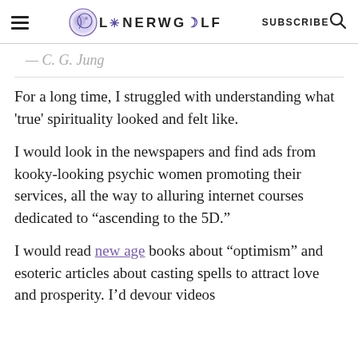LONERWOLF | SUBSCRIBE
— C. G. Jung
For a long time, I struggled with understanding what 'true' spirituality looked and felt like.
I would look in the newspapers and find ads from kooky-looking psychic women promoting their services, all the way to alluring internet courses dedicated to “ascending to the 5D.”
I would read new age books about “optimism” and esoteric articles about casting spells to attract love and prosperity. I’d devour videos